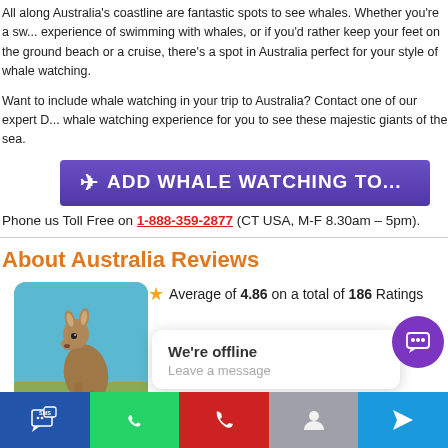All along Australia's coastline are fantastic spots to see whales. Whether you're a swimmer who wants the experience of swimming with whales, or if you'd rather keep your feet on the ground and watch from the beach or a cruise, there's a spot in Australia perfect for your style of whale watching.
Want to include whale watching in your trip to Australia? Contact one of our expert D... whale watching experience for you to see these majestic giants of the sea.
[Figure (infographic): Purple CTA button with paper plane icon reading ADD WHALE WATCHING TO...]
Phone us Toll Free on 1-888-359-2877 (CT USA, M-F 8.30am – 5pm).
About Australia Reviews
Rating of ★★★★★ Average of 4.86 on a total of 186 Ratings
[Figure (photo): Photo of a kangaroo standing near water with blue-green sea in background]
We're offline
Leave a message